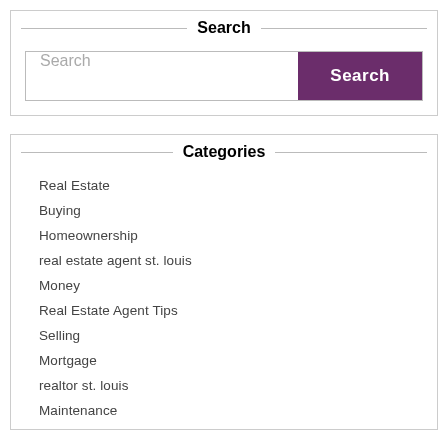Search
[Figure (screenshot): Search input box with placeholder text 'Search' and a purple 'Search' button]
Categories
Real Estate
Buying
Homeownership
real estate agent st. louis
Money
Real Estate Agent Tips
Selling
Mortgage
realtor st. louis
Maintenance